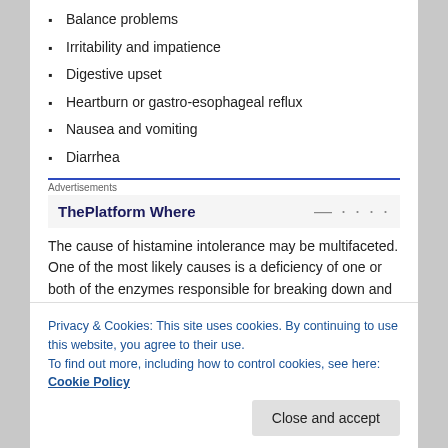Balance problems
Irritability and impatience
Digestive upset
Heartburn or gastro-esophageal reflux
Nausea and vomiting
Diarrhea
Advertisements
ThePlatform Where
The cause of histamine intolerance may be multifaceted. One of the most likely causes is a deficiency of one or both of the enzymes responsible for breaking down and
various degrees in many foods. In healthy persons,
Privacy & Cookies: This site uses cookies. By continuing to use this website, you agree to their use.
To find out more, including how to control cookies, see here: Cookie Policy